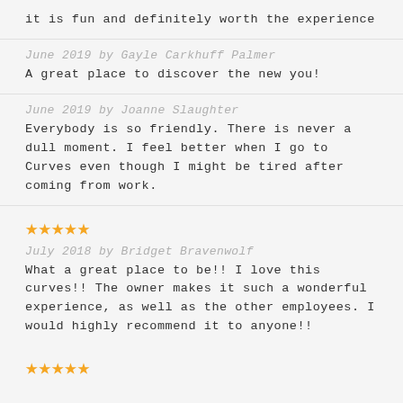it is fun and definitely worth the experience
June 2019 by Gayle Carkhuff Palmer
A great place to discover the new you!
June 2019 by Joanne Slaughter
Everybody is so friendly. There is never a dull moment. I feel better when I go to Curves even though I might be tired after coming from work.
[Figure (other): 5 orange star rating icons]
July 2018 by Bridget Bravenwolf
What a great place to be!! I love this curves!! The owner makes it such a wonderful experience, as well as the other employees. I would highly recommend it to anyone!!
[Figure (other): 5 orange star rating icons]